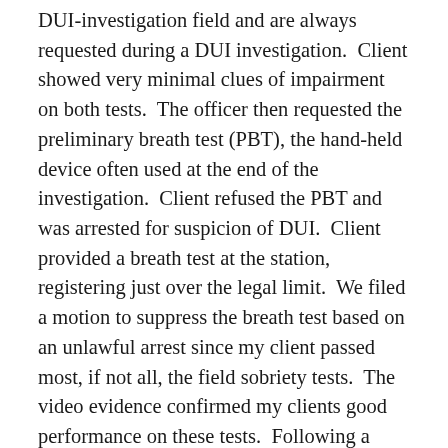DUI-investigation field and are always requested during a DUI investigation.  Client showed very minimal clues of impairment on both tests.  The officer then requested the preliminary breath test (PBT), the hand-held device often used at the end of the investigation.  Client refused the PBT and was arrested for suspicion of DUI.  Client provided a breath test at the station, registering just over the legal limit.  We filed a motion to suppress the breath test based on an unlawful arrest since my client passed most, if not all, the field sobriety tests.  The video evidence confirmed my clients good performance on these tests.  Following a hearing, the court ruled that the officer clearly did not have probable cause to arrest my client based on the "totality of the circumstances" review.  A recent Wichita case titled State vs. Molitor had very similar facts to our case.  In Molitor, the Supreme Court reversed the lower